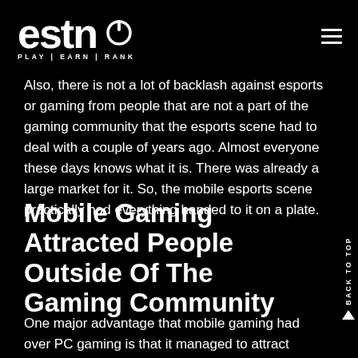ESTN — PLAY | EARN | RANK
Also, there is not a lot of backlash against esports or gaming from people that are not a part of the gaming community that the esports scene had to deal with a couple of years ago. Almost everyone these days knows what it is. There was already a large market for it. So, the mobile esports scene practically had everything handed to it on a plate.
Mobile Gaming Attracted People Outside Of The Gaming Community
One major advantage that mobile gaming had over PC gaming is that it managed to attract people that were not a part of the whole esports or gaming culture. People that